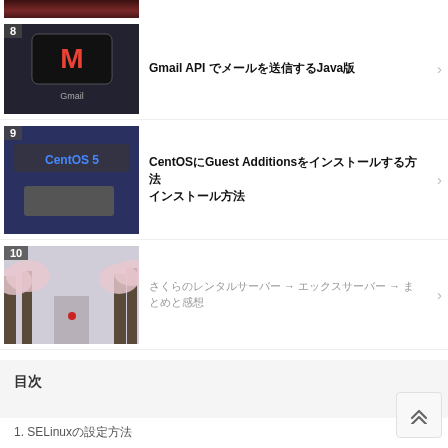[Figure (photo): Partial top image - person in red]
8 Gmail API でメールを送信するJava版
[Figure (photo): Gmail app on phone screen with M logo]
9 CentOSにGuest Additionsをインストールする方法 インストール方法
[Figure (photo): CentOS 5 logo on computer screen]
10 さくらのレンタルサーバー → エックスサーバー → まとめと感想
[Figure (photo): Cherry blossom path]
目次
1. SELinuxの設定方法